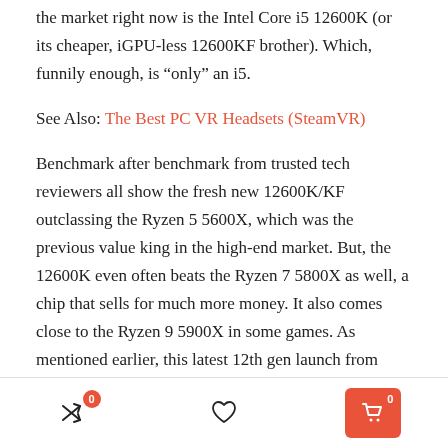the market right now is the Intel Core i5 12600K (or its cheaper, iGPU-less 12600KF brother). Which, funnily enough, is “only” an i5.
See Also: The Best PC VR Headsets (SteamVR)
Benchmark after benchmark from trusted tech reviewers all show the fresh new 12600K/KF outclassing the Ryzen 5 5600X, which was the previous value king in the high-end market. But, the 12600K even often beats the Ryzen 7 5800X as well, a chip that sells for much more money. It also comes close to the Ryzen 9 5900X in some games. As mentioned earlier, this latest 12th gen launch from Intel is a smashing success, following the disappointing 11th gen
0  [heart]  0 [cart]